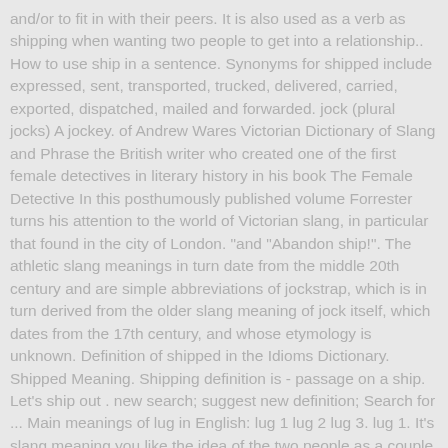and/or to fit in with their peers. It is also used as a verb as shipping when wanting two people to get into a relationship.. How to use ship in a sentence. Synonyms for shipped include expressed, sent, transported, trucked, delivered, carried, exported, dispatched, mailed and forwarded. jock (plural jocks) A jockey. of Andrew Wares Victorian Dictionary of Slang and Phrase the British writer who created one of the first female detectives in literary history in his book The Female Detective In this posthumously published volume Forrester turns his attention to the world of Victorian slang, in particular that found in the city of London. "and "Abandon ship!". The athletic slang meanings in turn date from the middle 20th century and are simple abbreviations of jockstrap, which is in turn derived from the older slang meaning of jock itself, which dates from the 17th century, and whose etymology is unknown. Definition of shipped in the Idioms Dictionary. Shipped Meaning. Shipping definition is - passage on a ship. Let's ship out . new search; suggest new definition; Search for ... Main meanings of lug in English: lug 1 lug 2 lug 3. lug 1. It's slang meaning you like the idea of the two people as a couple. Ships are traditionally regarded as feminine and the pronouns her and she are normally used instead of it. Ship definition: A ship is a large boat which carries passengers or cargo . Etymology "Bull",